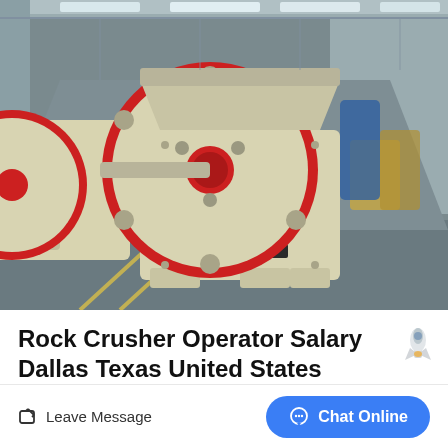[Figure (photo): Jaw crusher industrial machine in a large factory/warehouse setting. The machine is cream/beige colored with a prominent red-rimmed flywheel. The factory interior has a high ceiling with skylights. Background shows additional industrial equipment.]
Rock Crusher Operator Salary Dallas Texas United States
Leave Message
Chat Online